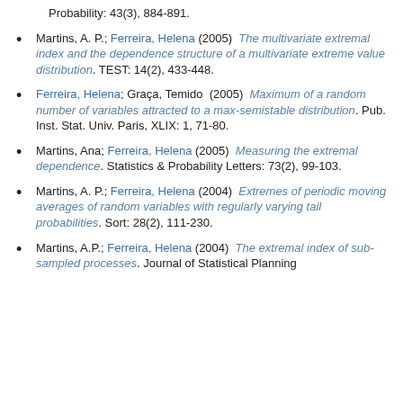Probability: 43(3), 884-891.
Martins, A. P.; Ferreira, Helena (2005)  The multivariate extremal index and the dependence structure of a multivariate extreme value distribution. TEST: 14(2), 433-448.
Ferreira, Helena; Graça, Temido  (2005)  Maximum of a random number of variables attracted to a max-semistable distribution. Pub. Inst. Stat. Univ. Paris, XLIX: 1, 71-80.
Martins, Ana; Ferreira, Helena (2005)  Measuring the extremal dependence. Statistics & Probability Letters: 73(2), 99-103.
Martins, A. P.; Ferreira, Helena (2004)  Extremes of periodic moving averages of random variables with regularly varying tail probabilities. Sort: 28(2), 111-230.
Martins, A.P.; Ferreira, Helena (2004)  The extremal index of sub-sampled processes. Journal of Statistical Planning and Inference: 134(1), 147-170.